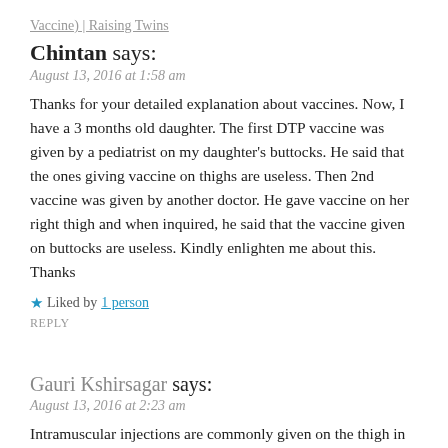Vaccine) | Raising Twins
Chintan says:
August 13, 2016 at 1:58 am
Thanks for your detailed explanation about vaccines. Now, I have a 3 months old daughter. The first DTP vaccine was given by a pediatrician on my daughter's buttocks. He said that the ones giving vaccine on thighs are useless. Then 2nd vaccine was given by another doctor. He gave vaccine on her right thigh and when inquired, he said that the vaccine given on buttocks are useless. Kindly enlighten me about this. Thanks
★ Liked by 1 person
REPLY
Gauri Kshirsagar says:
August 13, 2016 at 2:23 am
Intramuscular injections are commonly given on the thigh in